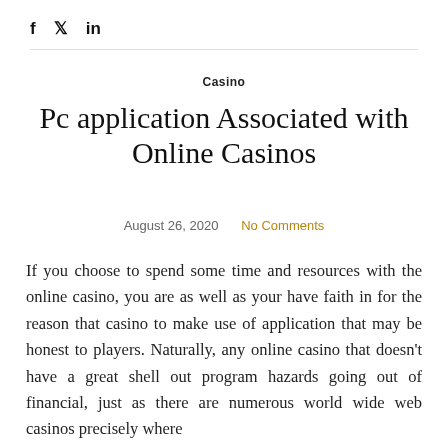f  ♦  in
Casino
Pc application Associated with Online Casinos
August 26, 2020   No Comments
If you choose to spend some time and resources with the online casino, you are as well as your have faith in for the reason that casino to make use of application that may be honest to players. Naturally, any online casino that doesn't have a great shell out program hazards going out of financial, just as there are numerous world wide web casinos precisely where people have experience here. Nevertheless, even time